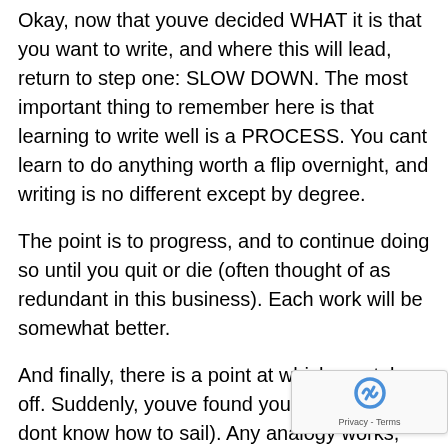Okay, now that youve decided WHAT it is that you want to write, and where this will lead, return to step one: SLOW DOWN. The most important thing to remember here is that learning to write well is a PROCESS. You cant learn to do anything worth a flip overnight, and writing is no different except by degree.
The point is to progress, and to continue doing so until you quit or die (often thought of as redundant in this business). Each work will be somewhat better.
And finally, there is a point at which you take off. Suddenly, youve found your ski legs (I dont know how to sail). Any analogy works, but remember when learning to ski you had to manage about fifty things at oncebalance, poles, stay on the inside edge, my God this is steep, keep your upper body quiet, etc.constantly concentrating on all of the minute aspects. And then one day and completely out of the blue, you noticed you were just skiing?